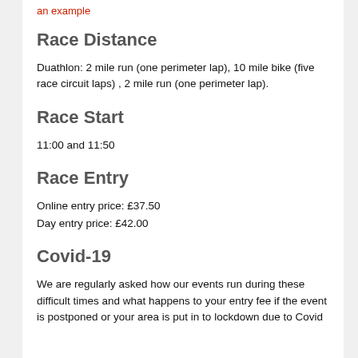an example
Race Distance
Duathlon: 2 mile run (one perimeter lap), 10 mile bike (five race circuit laps) , 2 mile run (one perimeter lap).
Race Start
11:00 and 11:50
Race Entry
Online entry price: £37.50
Day entry price: £42.00
Covid-19
We are regularly asked how our events run during these difficult times and what happens to your entry fee if the event is postponed or your area is put in to lockdown due to Covid